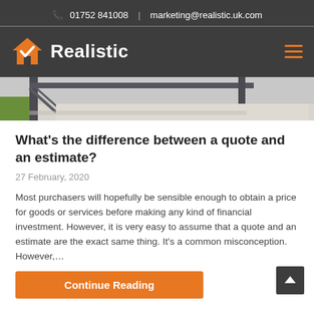📞 01752 841008  |  marketing@realistic.uk.com
[Figure (logo): Realistic logo with orange house checkmark icon and white bold text 'Realistic' on dark grey background. Hamburger menu icon (three orange lines) on the right.]
[Figure (photo): Partial photo showing a dark metal frame structure on concrete, likely a conservatory or extension frame, with green grass visible at the left edge.]
What's the difference between a quote and an estimate?
27 February, 2020
Most purchasers will hopefully be sensible enough to obtain a price for goods or services before making any kind of financial investment. However, it is very easy to assume that a quote and an estimate are the exact same thing. It's a common misconception. However,...
Continue Reading